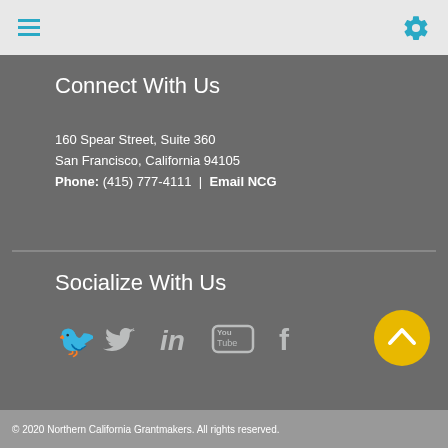Connect With Us
160 Spear Street, Suite 360
San Francisco, California 94105
Phone: (415) 777-4111  |  Email NCG
Socialize With Us
[Figure (infographic): Social media icons: Twitter bird, LinkedIn 'in', YouTube, Facebook 'f']
© 2020 Northern California Grantmakers. All rights reserved.